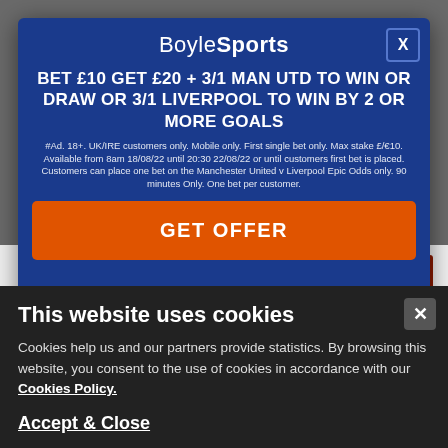[Figure (screenshot): BoyleSports promotional modal overlay on a betting website. Blue modal with headline offer, terms text, and GET OFFER button. Behind modal: bet365 logo, '2 Goals Ahead Early Payment' text, GET OFFER dark red button, carousel dots, and WORLD CUP ODDS orange button.]
BET £10 GET £20 + 3/1 MAN UTD TO WIN OR DRAW OR 3/1 LIVERPOOL TO WIN BY 2 OR MORE GOALS
#Ad. 18+. UK/IRE customers only. Mobile only. First single bet only. Max stake £/€10. Available from 8am 18/08/22 until 20:30 22/08/22 or until customers first bet is placed. Customers can place one bet on the Manchester United v Liverpool Epic Odds only. 90 minutes Only. One bet per customer.
GET OFFER
2 Goals Ahead Early Payment
GET OFFER
WORLD CUP ODDS
This website uses cookies
Cookies help us and our partners provide statistics. By browsing this website, you consent to the use of cookies in accordance with our Cookies Policy.
Accept & Close